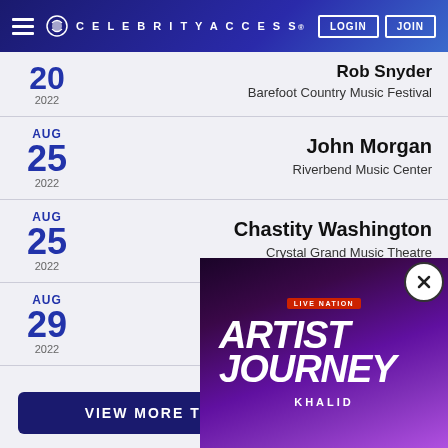CELEBRITYACCESS. LOGIN JOIN
Rob Snyder | 20 | 2022 | Barefoot Country Music Festival
AUG 25 2022 | John Morgan | Riverbend Music Center
AUG 25 2022 | Chastity Washington | Crystal Grand Music Theatre
AUG 29 2022 | Matute
VIEW MORE TO
[Figure (screenshot): Live Nation Artist Journey popup featuring Khalid, with purple/magenta background and close button]